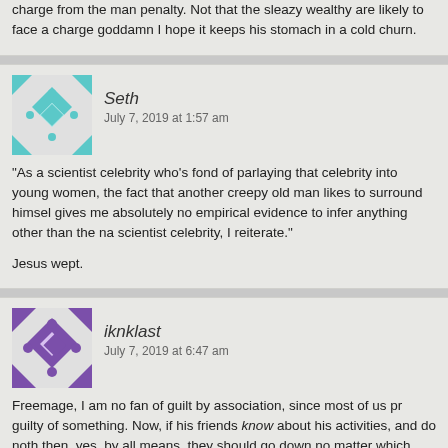charge from the man penalty. Not that the sleazy wealthy are likely to face a charge goddamn I hope it keeps his stomach in a cold churn.
Seth
July 7, 2019 at 1:57 am
"As a scientist celebrity who's fond of parlaying that celebrity into young women, the fact that another creepy old man likes to surround himself gives me absolutely no empirical evidence to infer anything other than the na scientist celebrity, I reiterate."

Jesus wept.
iknklast
July 7, 2019 at 6:47 am
Freemage, I am no fan of guilt by association, since most of us pr guilty of something. Now, if his friends know about his activities, and do noth then, yes, by all means, they should go down no matter which side they are o history of some sleazy sexual antics, so that wouldn't be totally surprising if h a "naughty" way.

But just for being friends with someone who turns out to be a sleazebag is o